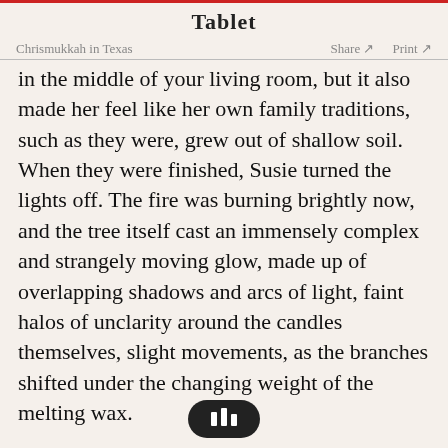Tablet
Chrismukkah in Texas    Share ↗    Print ↗
in the middle of your living room, but it also made her feel like her own family traditions, such as they were, grew out of shallow soil. When they were finished, Susie turned the lights off. The fire was burning brightly now, and the tree itself cast an immensely complex and strangely moving glow, made up of overlapping shadows and arcs of light, faint halos of unclarity around the candles themselves, slight movements, as the branches shifted under the changing weight of the melting wax.

Liesel in every room of the house had certain chairs she always sat [icon] which were always